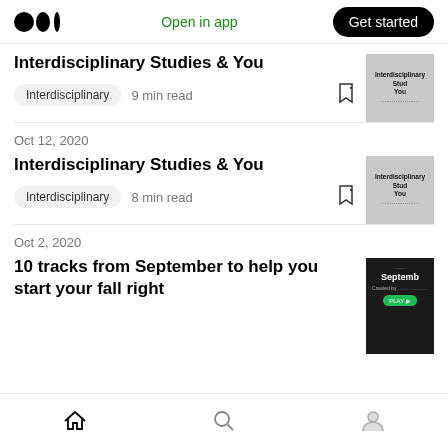Medium logo | Open in app | Get started
Interdisciplinary Studies & You
Interdisciplinary   9 min read
Oct 12, 2020
Interdisciplinary Studies & You
Interdisciplinary   8 min read
Oct 2, 2020
10 tracks from September to help you start your fall right
Home | Search | Profile